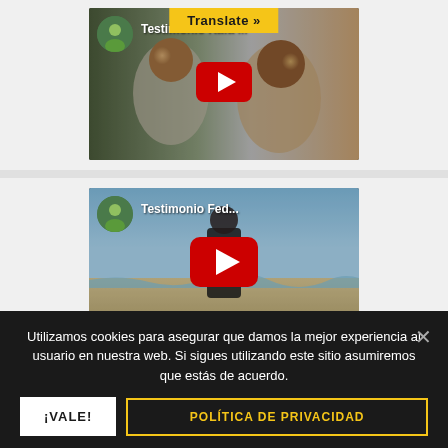[Figure (screenshot): YouTube video thumbnail for 'Testimonio Rafa...' with a play button and Translate button overlay. Shows two men in the thumbnail image.]
[Figure (screenshot): YouTube video thumbnail for 'Testimonio Fed...' with a play button. Shows a man on a beach.]
Utilizamos cookies para asegurar que damos la mejor experiencia al usuario en nuestra web. Si sigues utilizando este sitio asumiremos que estás de acuerdo.
¡VALE!
POLÍTICA DE PRIVACIDAD